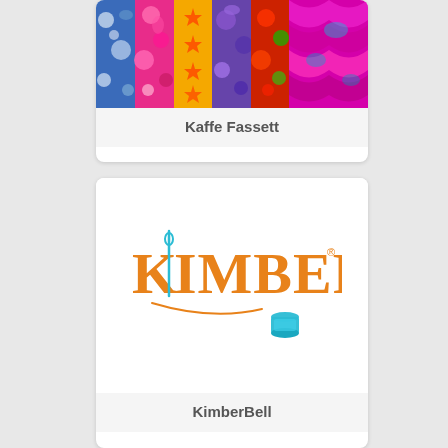[Figure (photo): Kaffe Fassett colorful fabric swatches - multiple vertical strips showing bright floral and patterned fabrics in pink, yellow, blue, green, red, and purple]
Kaffe Fassett
[Figure (logo): KimberBell logo - orange serif stylized text 'KimberBell' with a teal thread spool and needle accent below]
KimberBell